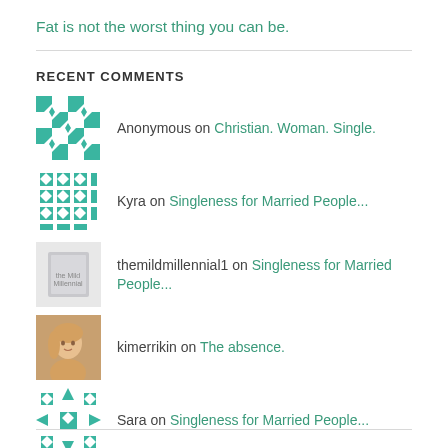Fat is not the worst thing you can be.
RECENT COMMENTS
Anonymous on Christian. Woman. Single.
Kyra on Singleness for Married People...
themildmillennial1 on Singleness for Married People...
kimerrikin on The absence.
Sara on Singleness for Married People...